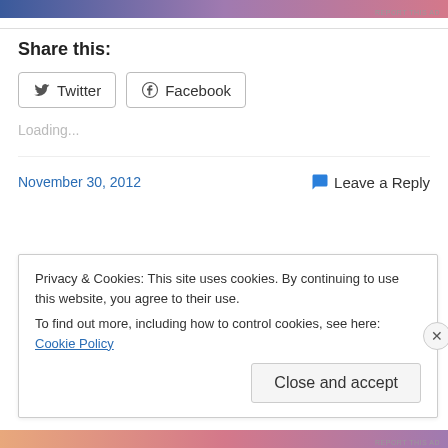[Figure (other): Gradient ad banner bar at the top, blue to pink, with 'REPORT THIS AD' text on the right]
Share this:
Twitter  Facebook
Loading...
November 30, 2012
Leave a Reply
Privacy & Cookies: This site uses cookies. By continuing to use this website, you agree to their use.
To find out more, including how to control cookies, see here: Cookie Policy
Close and accept